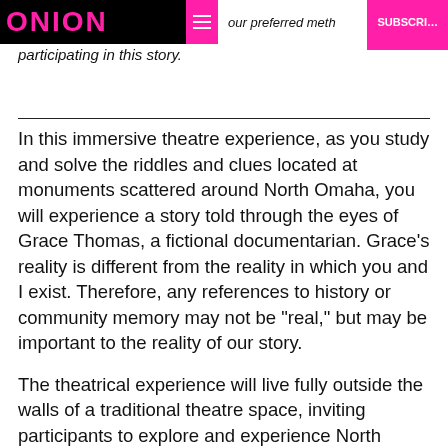ONION — our preferred method of participating in this story.
participating in this story.
In this immersive theatre experience, as you study and solve the riddles and clues located at monuments scattered around North Omaha, you will experience a story told through the eyes of Grace Thomas, a fictional documentarian. Grace's reality is different from the reality in which you and I exist. Therefore, any references to history or community memory may not be "real," but may be important to the reality of our story.
The theatrical experience will live fully outside the walls of a traditional theatre space, inviting participants to explore and experience North Omaha. It takes place. For more, you will